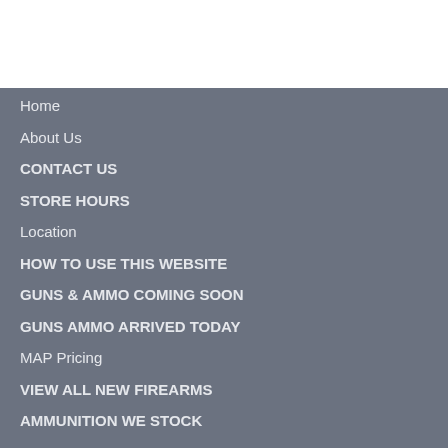Home
About Us
CONTACT US
STORE HOURS
Location
HOW TO USE THIS WEBSITE
GUNS & AMMO COMING SOON
GUNS AMMO ARRIVED TODAY
MAP Pricing
VIEW ALL NEW FIREARMS
AMMUNITION WE STOCK
GUN PARTS MAGS ACC TOOLS
View All Used Guns